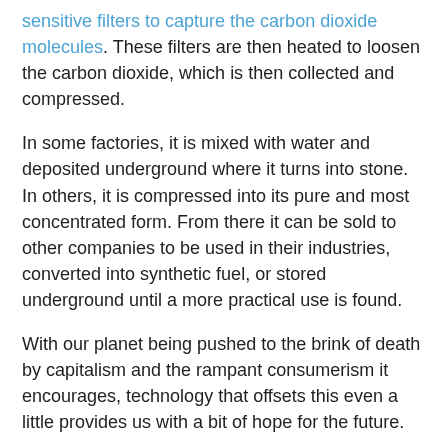sensitive filters to capture the carbon dioxide molecules. These filters are then heated to loosen the carbon dioxide, which is then collected and compressed.
In some factories, it is mixed with water and deposited underground where it turns into stone. In others, it is compressed into its pure and most concentrated form. From there it can be sold to other companies to be used in their industries, converted into synthetic fuel, or stored underground until a more practical use is found.
With our planet being pushed to the brink of death by capitalism and the rampant consumerism it encourages, technology that offsets this even a little provides us with a bit of hope for the future.
Image via Unsplash